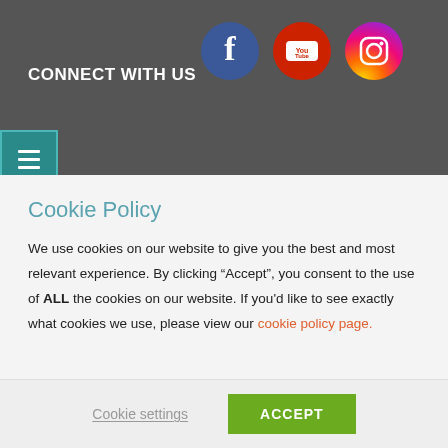CONNECT WITH US
[Figure (illustration): Three social media icons in circles: Facebook (blue), YouTube (red), Instagram (gradient purple/orange)]
Cookie Policy
We use cookies on our website to give you the best and most relevant experience. By clicking “Accept”, you consent to the use of ALL the cookies on our website. If you'd like to see exactly what cookies we use, please view our cookie policy page.
Cookie settings
ACCEPT